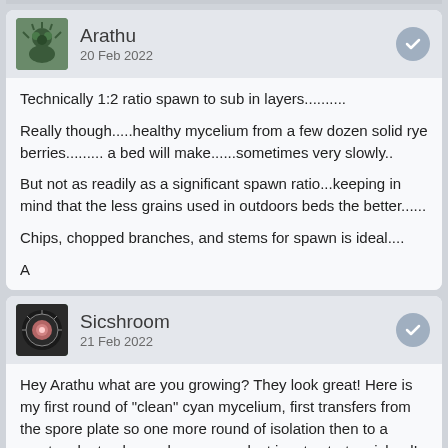Arathu
20 Feb 2022
Technically 1:2 ratio spawn to sub in layers..........

Really though.....healthy mycelium from a few dozen solid rye berries......... a bed will make......sometimes very slowly..

But not as readily as a significant spawn ratio...keeping in mind that the less grains used in outdoors beds the better......

Chips, chopped branches, and stems for spawn is ideal....

A
Sicshroom
21 Feb 2022
Hey Arathu what are you growing? They look great! Here is my first round of "clean" cyan mycelium, first transfers from the spore plate so one more round of isolation then to a master slant, a l.c. and some sawdust jars to start an island!
Attached Thumbnails